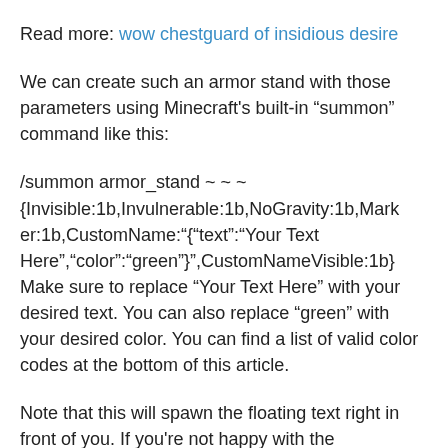Read more: wow chestguard of insidious desire
We can create such an armor stand with those parameters using Minecraft's built-in “summon” command like this:
/summon armor_stand ~ ~ ~
{Invisible:1b,Invulnerable:1b,NoGravity:1b,Marker:1b,CustomName:{“text”:“Your Text Here”,“color”:“green”},CustomNameVisible:1b}
Make sure to replace “Your Text Here” with your desired text. You can also replace “green” with your desired color. You can find a list of valid color codes at the bottom of this article.
Note that this will spawn the floating text right in front of you. If you're not happy with the